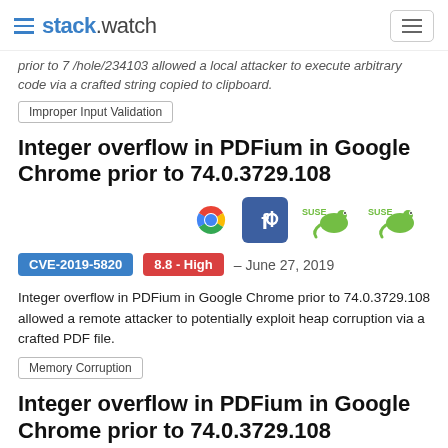stack.watch
prior to 7 /hole/234103 allowed a local attacker to execute arbitrary code via a crafted string copied to clipboard.
Improper Input Validation
Integer overflow in PDFium in Google Chrome prior to 74.0.3729.108
[Figure (logo): Logos for Google Chrome, Fedora, SUSE (x2)]
CVE-2019-5820  8.8 - High  – June 27, 2019
Integer overflow in PDFium in Google Chrome prior to 74.0.3729.108 allowed a remote attacker to potentially exploit heap corruption via a crafted PDF file.
Memory Corruption
Integer overflow in PDFium in Google Chrome prior to 74.0.3729.108